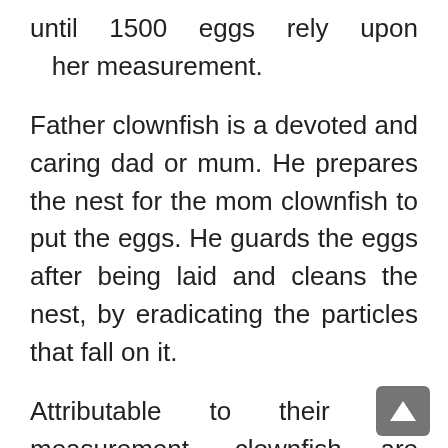until 1500 eggs rely upon her measurement.
Father clownfish is a devoted and caring dad or mum. He prepares the nest for the mom clownfish to put the eggs. He guards the eggs after being laid and cleans the nest, by eradicating the particles that fall on it.
Attributable to their tiny measurement, clownfish are attacked by some predators like stingrays, sharks, eels, and differ large fish. However, clownfish are tough to